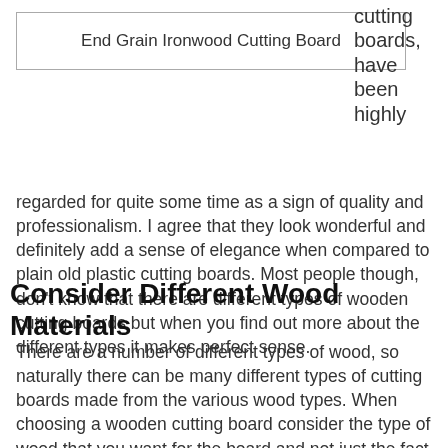| End Grain Ironwood Cutting Board |
cutting boards, have been highly regarded for quite some time as a sign of quality and professionalism. I agree that they look wonderful and definitely add a sense of elegance when compared to plain old plastic cutting boards. Most people though, don't know that there are different types of wooden cutting boards but when you find out more about the different types it makes perfect sense.
Consider Different Wood Materials
There are a number of different types of wood, so naturally there can be many different types of cutting boards made from the various wood types. When choosing a wooden cutting board consider the type of wood that you want for the board and not just the fact that a wooden cutting board